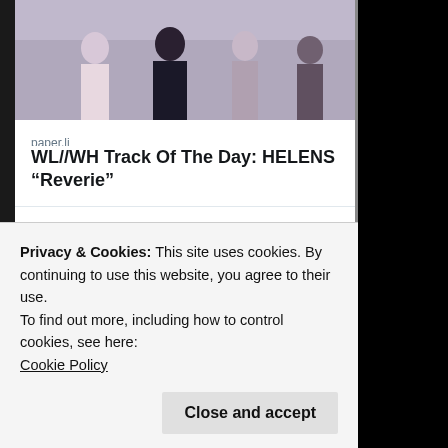[Figure (photo): Photo of a group of people standing outdoors, cropped at top, shown in muted tones]
paper.li
WL//WH Track Of The Day: HELENS “Reverie”
1 (comment) 1 (like)
WhiteLight-WhiteHeat ...
Jakub Po... @.. · Aug 21
On isolations.blogspot.com
Privacy & Cookies: This site uses cookies. By continuing to use this website, you agree to their use.
To find out more, including how to control cookies, see here:
Cookie Policy
Close and accept
@curtisiannnn